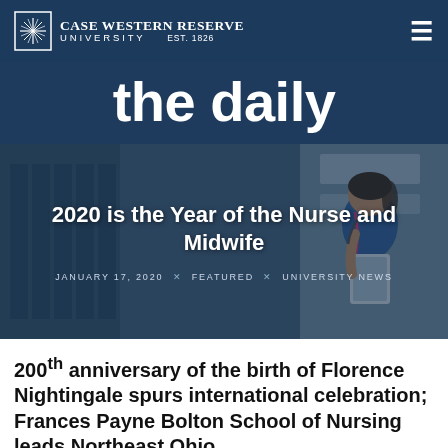Case Western Reserve University EST. 1826
the daily
[Figure (photo): A female nurse in blue scrubs with a pink lanyard holding a tablet, walking in a hospital corridor. Overlaid with headline text.]
2020 is the Year of the Nurse and Midwife
JANUARY 17, 2020  ✕  FEATURED  ✕  UNIVERSITY NEWS
200th anniversary of the birth of Florence Nightingale spurs international celebration; Frances Payne Bolton School of Nursing leads Northeast Ohio